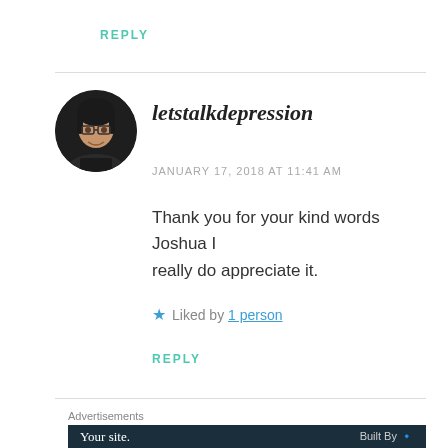REPLY
[Figure (photo): Circular profile photo of a woman with glasses and dark hair against a dark background]
letstalkdepression
JANUARY 17, 2018 AT 11:41 AM
Thank you for your kind words Joshua I really do appreciate it.
★ Liked by 1 person
REPLY
Advertisements
Your site.   Built By